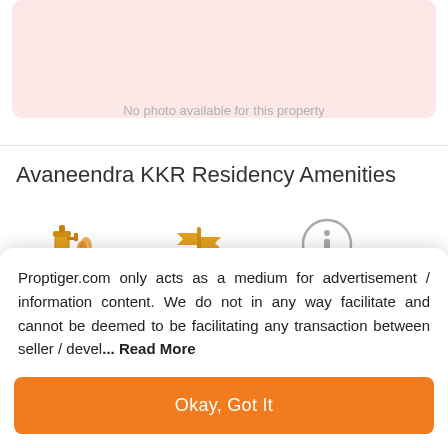[Figure (illustration): Property photo placeholder with pink/red building icon and text 'No photo available for this property']
Avaneendra KKR Residency Amenities
[Figure (infographic): Three amenity icons: Fire Fighting System (fire extinguisher icon in gold), Internal Roads (signpost icon in gold), Electrification(Transformer, Solar Energy etc) (info circle icon)]
Proptiger.com only acts as a medium for advertisement / information content. We do not in any way facilitate and cannot be deemed to be facilitating any transaction between seller / devel... Read More
Okay, Got It